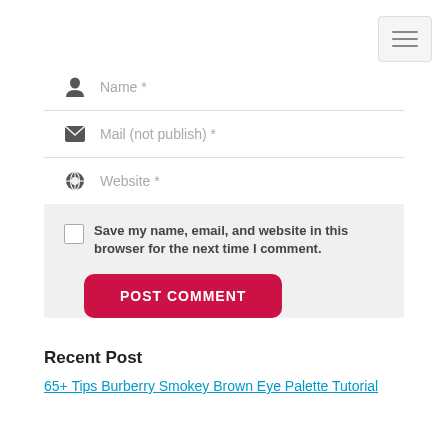[Figure (screenshot): Hamburger menu button top right corner with three horizontal lines]
Name *
Mail (not publish) *
Website *
Save my name, email, and website in this browser for the next time I comment.
POST COMMENT
Recent Post
65+ Tips Burberry Smokey Brown Eye Palette Tutorial